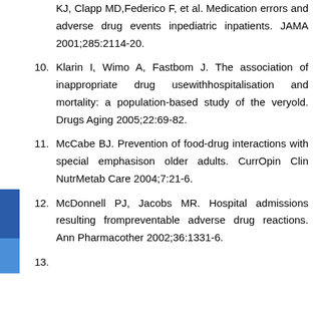KJ, Clapp MD,Federico F, et al. Medication errors and adverse drug events inpediatric inpatients. JAMA 2001;285:2114-20.
10. Klarin I, Wimo A, Fastbom J. The association of inappropriate drug usewithhospitalisation and mortality: a population-based study of the veryold. Drugs Aging 2005;22:69-82.
11. McCabe BJ. Prevention of food-drug interactions with special emphasison older adults. CurrOpin Clin NutrMetab Care 2004;7:21-6.
12. McDonnell PJ, Jacobs MR. Hospital admissions resulting frompreventable adverse drug reactions. Ann Pharmacother 2002;36:1331-6.
13. [partial, cut off at bottom]